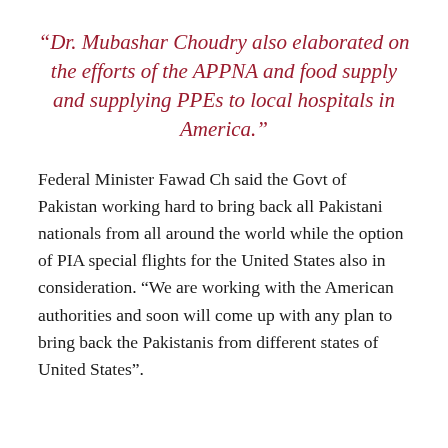“Dr. Mubashar Choudry also elaborated on the efforts of the APPNA and food supply and supplying PPEs to local hospitals in America.”
Federal Minister Fawad Ch said the Govt of Pakistan working hard to bring back all Pakistani nationals from all around the world while the option of PIA special flights for the United States also in consideration. “We are working with the American authorities and soon will come up with any plan to bring back the Pakistanis from different states of United States”.